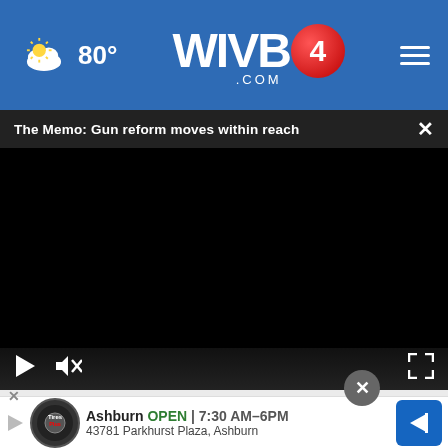WIVB4.COM  80°
The Memo: Gun reform moves within reach
[Figure (screenshot): Black video player with playback controls (play button, mute button, fullscreen button) at the bottom. Partially visible person image at the very bottom of the video area.]
Girl Gives Garbage Man Cupcake Every Week Until Dad...
Health...
Ashburn  OPEN  7:30 AM–6PM
43781 Parkhurst Plaza, Ashburn